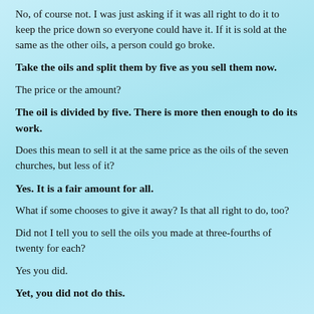No, of course not. I was just asking if it was all right to do it to keep the price down so everyone could have it. If it is sold at the same as the other oils, a person could go broke.
Take the oils and split them by five as you sell them now.
The price or the amount?
The oil is divided by five. There is more then enough to do its work.
Does this mean to sell it at the same price as the oils of the seven churches, but less of it?
Yes. It is a fair amount for all.
What if some chooses to give it away? Is that all right to do, too?
Did not I tell you to sell the oils you made at three-fourths of twenty for each?
Yes you did.
Yet, you did not do this.